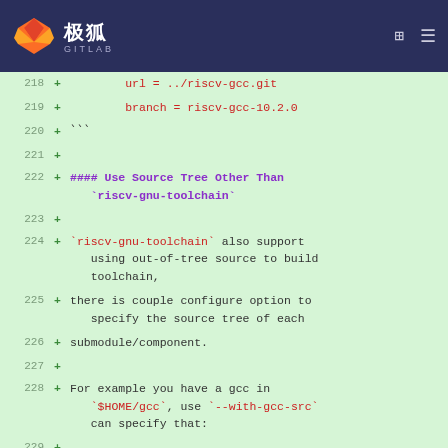极狐 GITLAB
218 +     url = ../riscv-gcc.git
219 +     branch = riscv-gcc-10.2.0
220 + ```
221 +
222 + #### Use Source Tree Other Than `riscv-gnu-toolchain`
223 +
224 + `riscv-gnu-toolchain` also support using out-of-tree source to build toolchain,
225 + there is couple configure option to specify the source tree of each
226 + submodule/component.
227 +
228 + For example you have a gcc in `$HOME/gcc`, use `--with-gcc-src` can specify that:
229 +
230 + ./configure --with-gcc-src=$HOME/gcc